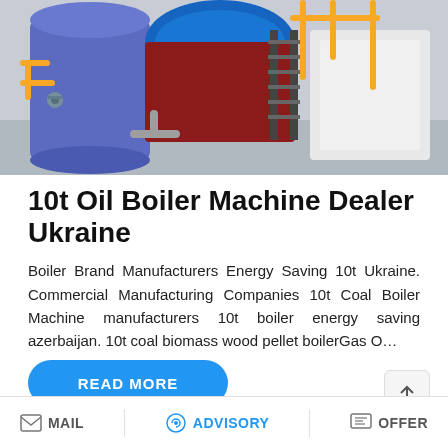[Figure (photo): Industrial boiler machines in a factory setting with blue cylindrical boilers, yellow pipes, and metal staircases]
10t Oil Boiler Machine Dealer Ukraine
Boiler Brand Manufacturers Energy Saving 10t Ukraine. Commercial Manufacturing Companies 10t Coal Boiler Machine manufacturers 10t boiler energy saving azerbaijan. 10t coal biomass wood pellet boilerGas O…
[Figure (screenshot): READ MORE blue rounded button partially visible, with Save Stickers on WhatsApp purple-pink overlay showing WhatsApp and messaging icons]
MAIL   ADVISORY   OFFER